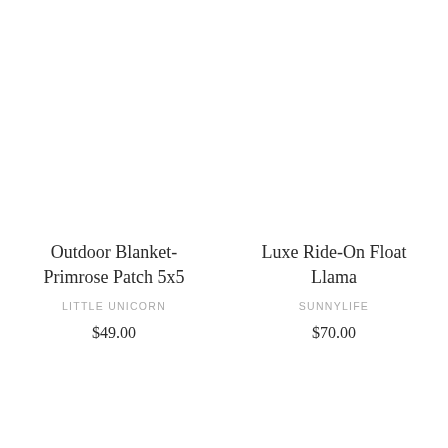Outdoor Blanket-Primrose Patch 5x5
LITTLE UNICORN
$49.00
Luxe Ride-On Float Llama
SUNNYLIFE
$70.00